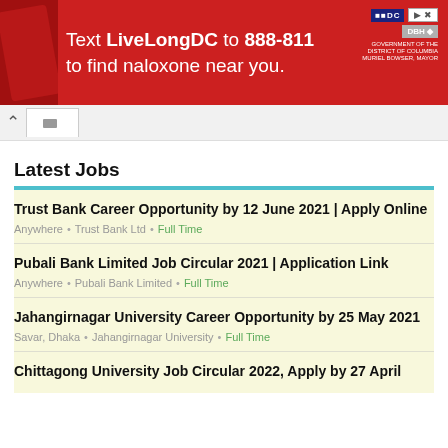[Figure (other): Red advertisement banner: Text LiveLongDC to 888-811 to find naloxone near you. DC and DBH logos on right side.]
[Figure (screenshot): Browser navigation bar with back arrow and tab indicator]
Latest Jobs
Trust Bank Career Opportunity by 12 June 2021 | Apply Online
Anywhere • Trust Bank Ltd • Full Time
Pubali Bank Limited Job Circular 2021 | Application Link
Anywhere • Pubali Bank Limited • Full Time
Jahangirnagar University Career Opportunity by 25 May 2021
Savar, Dhaka • Jahangirnagar University • Full Time
Chittagong University Job Circular 2022, Apply by 27 April